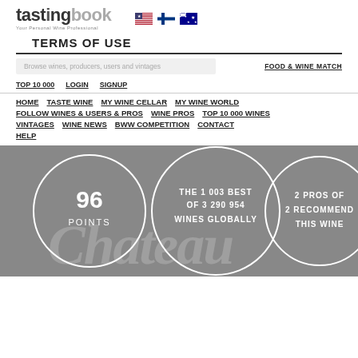tastingbook — Your Personal Wine Professional
TERMS OF USE
Browse wines, producers, users and vintages | FOOD & WINE MATCH
TOP 10 000 | LOGIN | SIGNUP
HOME | TASTE WINE | MY WINE CELLAR | MY WINE WORLD | FOLLOW WINES & USERS & PROS | WINE PROS | TOP 10 000 WINES | VINTAGES | WINE NEWS | BWW COMPETITION | CONTACT | HELP
[Figure (infographic): Gray banner with three circular badges: '96 POINTS', 'THE 1 003 BEST OF 3 290 954 WINES GLOBALLY', '2 PROS OF 2 RECOMMEND THIS WINE', overlaid with large italic text 'Chateau Tour']